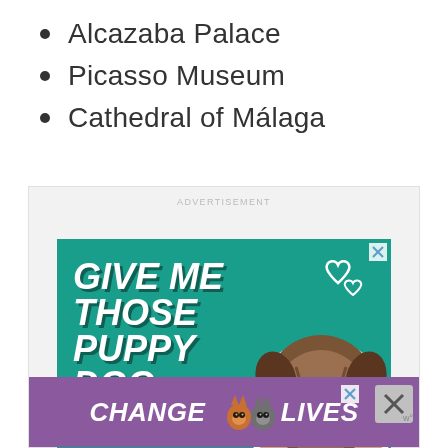Alcazaba Palace
Picasso Museum
Cathedral of Málaga
[Figure (other): Advertisement banner: teal background with white bold italic text reading 'GIVE ME THOSE PUPPY DOG' with a dog photo on the right and heart outlines. Below is a purple banner reading 'CHANGE LIVES' with cat images.]